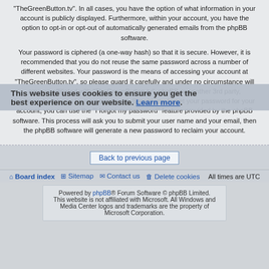“TheGreenButton.tv”. In all cases, you have the option of what information in your account is publicly displayed. Furthermore, within your account, you have the option to opt-in or opt-out of automatically generated emails from the phpBB software.
Your password is ciphered (a one-way hash) so that it is secure. However, it is recommended that you do not reuse the same password across a number of different websites. Your password is the means of accessing your account at “TheGreenButton.tv”, so please guard it carefully and under no circumstance will anyone affiliated with “TheGreenButton.tv”, phpBB or another 3rd party, legitimately ask you for your password. Should you forget your password for your account, you can use the “I forgot my password” feature provided by the phpBB software. This process will ask you to submit your user name and your email, then the phpBB software will generate a new password to reclaim your account.
Back to previous page
Board index  Sitemap  Contact us  Delete cookies  All times are UTC
Powered by phpBB® Forum Software © phpBB Limited. This website is not affiliated with Microsoft. All Windows and Media Center logos and trademarks are the property of Microsoft Corporation.